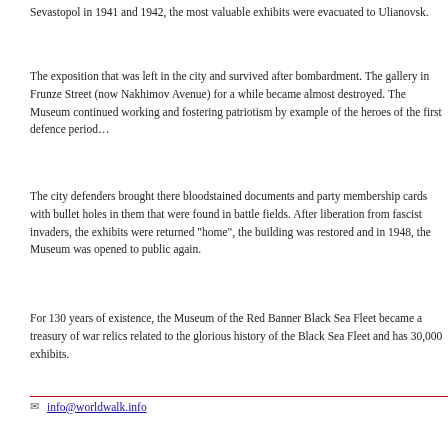Sevastopol in 1941 and 1942, the most valuable exhibits were evacuated to Ulianovsk.
The exposition that was left in the city and survived after bombardment. The gallery in Frunze Street (now Nakhimov Avenue) for a while became almost destroyed. The Museum continued working and fostering patriotism by example of the heroes of the first defence period…
The city defenders brought there bloodstained documents and party membership cards with bullet holes in them that were found in battle fields. After liberation from fascist invaders, the exhibits were returned "home", the building was restored and in 1948, the Museum was opened to public again.
For 130 years of existence, the Museum of the Red Banner Black Sea Fleet became a treasury of war relics related to the glorious history of the Black Sea Fleet and has 30,000 exhibits.
✉ info@worldwalk.info